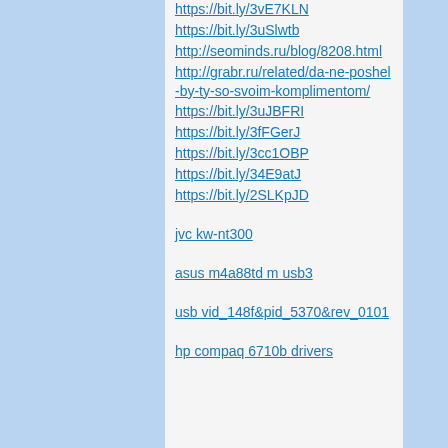https://bit.ly/3vE7KLN
https://bit.ly/3uSlwtb
http://seominds.ru/blog/8208.html
http://grabr.ru/related/da-ne-poshel-by-ty-so-svoim-komplimentom/
https://bit.ly/3uJBFRI
https://bit.ly/3fFGerJ
https://bit.ly/3cc1OBP
https://bit.ly/34E9atJ
https://bit.ly/2SLKpJD
jvc kw-nt300
asus m4a88td m usb3
usb vid_148f&pid_5370&rev_0101
hp compaq 6710b drivers